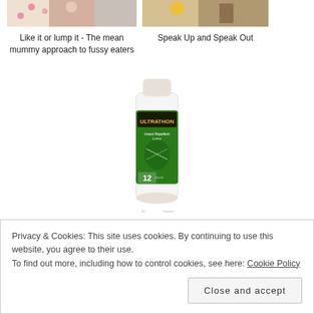[Figure (photo): Partial image of child (cropped at top) with floral background]
Like it or lump it - The mean mummy approach to fussy eaters
[Figure (photo): Partial image of person in colorful outfit (cropped at top)]
Speak Up and Speak Out
[Figure (photo): 3M Ultrathon insect repellent tube product image, white tube with green label showing '12' hours, mosquito graphic]
Win the 3M Ultrathon range of long lasting insect
Privacy & Cookies: This site uses cookies. By continuing to use this website, you agree to their use.
To find out more, including how to control cookies, see here: Cookie Policy
Close and accept